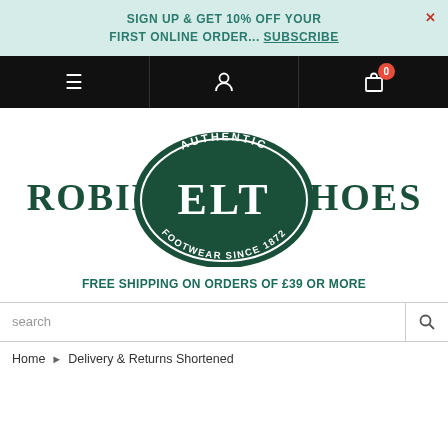SIGN UP & GET 10% OFF YOUR FIRST ONLINE ORDER... SUBSCRIBE
[Figure (logo): Robin ELT Shoes logo - dark green oval badge with 'AUTHENTIC' at top, 'ELT' in large letters in center, 'FOOTWEAR SINCE 1872' at bottom, with 'ROBIN' on left and 'SHOES' on right in dark green serif text]
FREE SHIPPING ON ORDERS OF £39 OR MORE
search
Home › Delivery & Returns Shortened